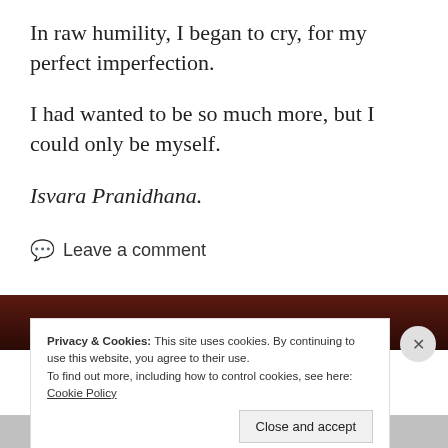In raw humility, I began to cry, for my perfect imperfection.
I had wanted to be so much more, but I could only be myself.
Isvara Pranidhana.
💬 Leave a comment
Privacy & Cookies: This site uses cookies. By continuing to use this website, you agree to their use.
To find out more, including how to control cookies, see here: Cookie Policy
Close and accept